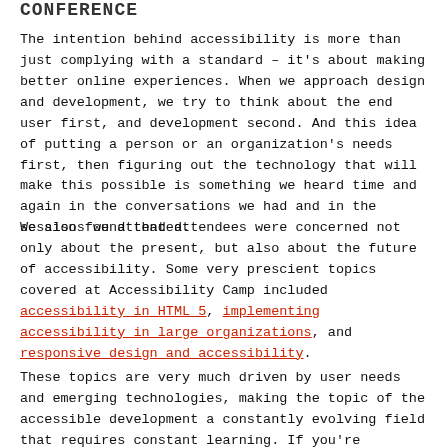CONFERENCE
The intention behind accessibility is more than just complying with a standard – it's about making better online experiences. When we approach design and development, we try to think about the end user first, and development second. And this idea of putting a person or an organization's needs first, then figuring out the technology that will make this possible is something we heard time and again in the conversations we had and in the sessions we attended.
We also found that attendees were concerned not only about the present, but also about the future of accessibility. Some very prescient topics covered at Accessibility Camp included accessibility in HTML 5, implementing accessibility in large organizations, and responsive design and accessibility.
These topics are very much driven by user needs and emerging technologies, making the topic of the accessible development a constantly evolving field that requires constant learning. If you're